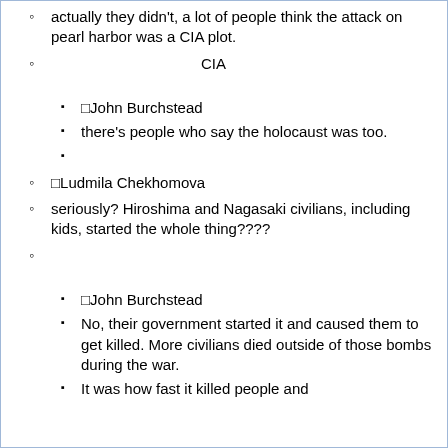actually they didn't, a lot of people think the attack on pearl harbor was a CIA plot.
[Japanese characters] CIA [Japanese characters]
[John Burchstead
there's people who say the holocaust was too.
[Japanese characters]
Ludmila Chekhomova
seriously? Hiroshima and Nagasaki civilians, including kids, started the whole thing????
[Japanese characters]
John Burchstead
No, their government started it and caused them to get killed. More civilians died outside of those bombs during the war.
It was how fast it killed people and